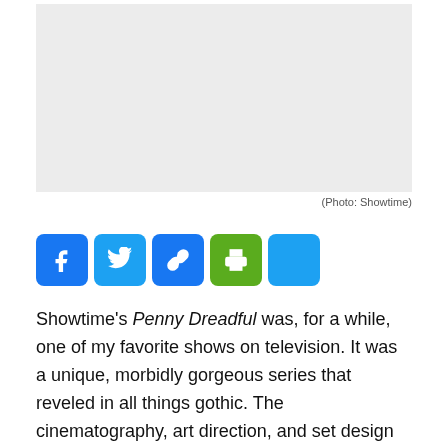[Figure (photo): Placeholder image area with light gray background (photo from Showtime)]
(Photo: Showtime)
[Figure (infographic): Social sharing buttons: Facebook, Twitter, Link/Copy, Print, More]
Showtime's Penny Dreadful was, for a while, one of my favorite shows on television. It was a unique, morbidly gorgeous series that reveled in all things gothic. The cinematography, art direction, and set design were all stunningly rendered and remain some of the most accomplished television work of